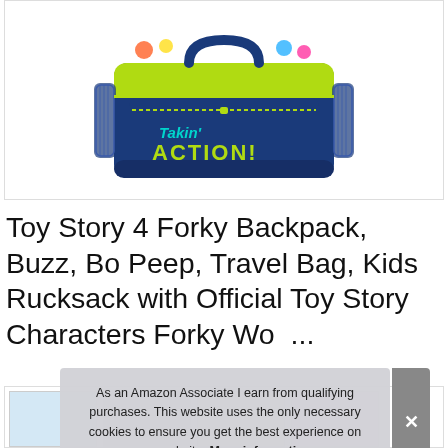[Figure (photo): A blue and lime green Toy Story kids bag/backpack with 'Takin' ACTION!' text printed on the front, displayed on a white background.]
Toy Story 4 Forky Backpack, Buzz, Bo Peep, Travel Bag, Kids Rucksack with Official Toy Story Characters Forky Woody Perfect Childrens School Bag
[Figure (photo): Thumbnail images of the Toy Story bag from various angles at the bottom of the page.]
As an Amazon Associate I earn from qualifying purchases. This website uses the only necessary cookies to ensure you get the best experience on our website. More information